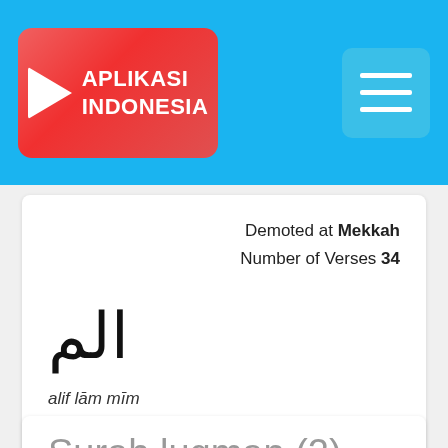APLIKASI INDONESIA
Demoted at Mekkah
Number of Verses 34
[Figure (other): Arabic script text in large Unicode characters]
alif lām mīm
ALIFLAMMIM.
Surah luqman (2)